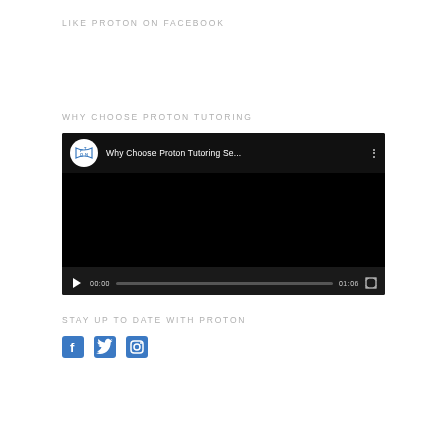LIKE PROTON ON FACEBOOK
WHY CHOOSE PROTON TUTORING
[Figure (screenshot): Embedded YouTube-style video player showing 'Why Choose Proton Tutoring Se...' with Proton Tutoring logo, black video area, play button, progress bar showing 00:00 / 01:06, and fullscreen button.]
STAY UP TO DATE WITH PROTON
[Figure (other): Three social media icons: Facebook (f), Twitter (bird), Instagram (camera), rendered in blue.]